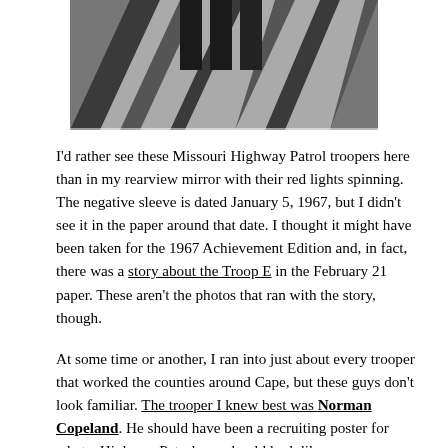[Figure (photo): Black and white photograph showing Missouri Highway Patrol troopers, cropped at the top, with visible lower bodies and what appears to be staircase or railing structures in the background.]
I'd rather see these Missouri Highway Patrol troopers here than in my rearview mirror with their red lights spinning. The negative sleeve is dated January 5, 1967, but I didn't see it in the paper around that date. I thought it might have been taken for the 1967 Achievement Edition and, in fact, there was a story about the Troop E in the February 21 paper. These aren't the photos that ran with the story, though.
At some time or another, I ran into just about every trooper that worked the counties around Cape, but these guys don't look familiar. The trooper I knew best was Norman Copeland. He should have been a recruiting poster for what a Highway Patrolman should look like.